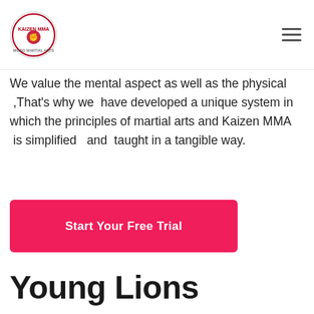Kaizen MMA logo and navigation menu
We value the mental aspect as well as the physical ,That's why we have developed a unique system in which the principles of martial arts and Kaizen MMA is simplified and taught in a tangible way.
Start Your Free Trial
Young Lions
Children between the ages of 7 to 12 years old, rapidly become aware of their physical and mental ability and regularly compare themselves